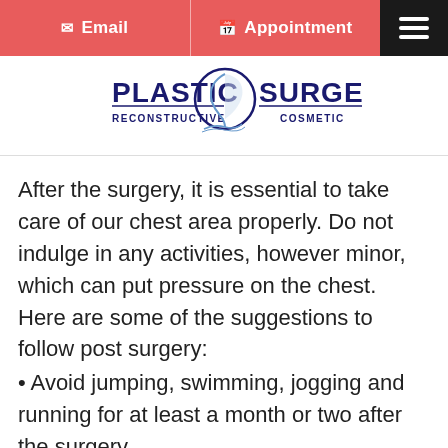Email | Appointment
[Figure (logo): Plastic Surgery Reconstructive Cosmetic logo with blue circle and face profile silhouette]
After the surgery, it is essential to take care of our chest area properly. Do not indulge in any activities, however minor, which can put pressure on the chest. Here are some of the suggestions to follow post surgery:
Avoid jumping, swimming, jogging and running for at least a month or two after the surgery.